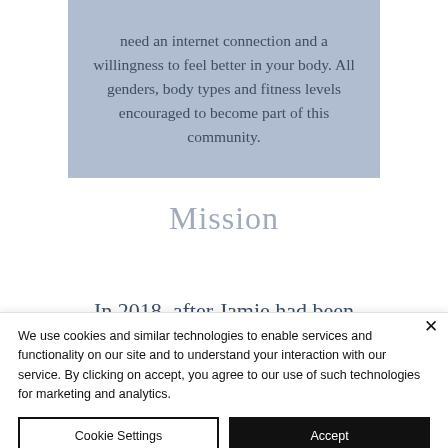need an internet connection and a willingness to feel better in your body. All genders, body types and fitness levels encouraged to become part of this community.
Mission
In 2018, after Jamie had been
We use cookies and similar technologies to enable services and functionality on our site and to understand your interaction with our service. By clicking on accept, you agree to our use of such technologies for marketing and analytics.